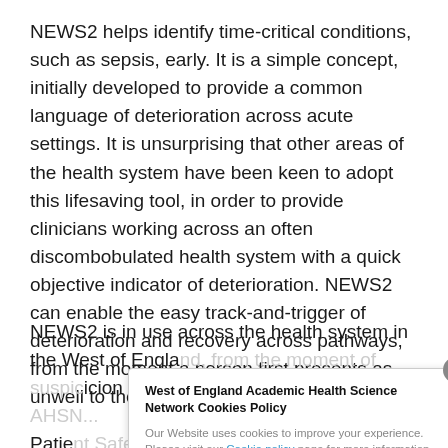NEWS2 helps identify time-critical conditions, such as sepsis, early. It is a simple concept, initially developed to provide a common language of deterioration across acute settings. It is unsurprising that other areas of the health system have been keen to adopt this lifesaving tool, in order to provide clinicians working across an often discombobulated health system with a quick objective indicator of deterioration. NEWS2 can enable the easy track-and-trigger of deterioration and recovery across pathways, from the moment a person first presents as unwell to the moment they are discharged.
NEWS2 is in use across the health system in the West of England, from the moment of suspicion of Sep... Patient... Safety... NEWS... style...
West of England Academic Health Science Network Cookies Policy
Our Website uses cookies to improve your experience. Please visit our Cookie policy page for more information about cookies and how we use them.